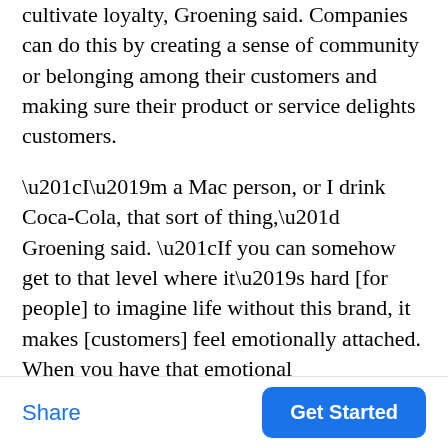cultivate loyalty, Groening said. Companies can do this by creating a sense of community or belonging among their customers and making sure their product or service delights customers.
“I’m a Mac person, or I drink Coca-Cola, that sort of thing,” Groening said. “If you can somehow get to that level where it’s hard [for people] to imagine life without this brand, it makes [customers] feel emotionally attached. When you have that emotional
Share   Get Started